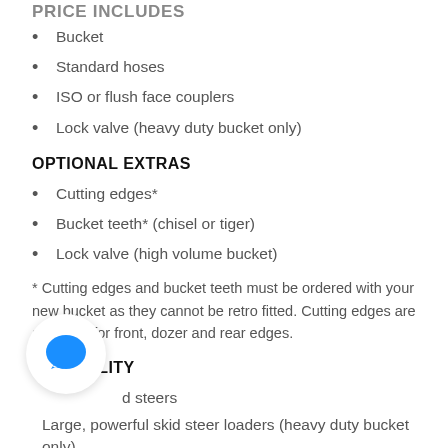PRICE INCLUDES
Bucket
Standard hoses
ISO or flush face couplers
Lock valve (heavy duty bucket only)
OPTIONAL EXTRAS
Cutting edges*
Bucket teeth* (chisel or tiger)
Lock valve (high volume bucket)
* Cutting edges and bucket teeth must be ordered with your new bucket as they cannot be retro fitted. Cutting edges are available for front, dozer and rear edges.
SUITABILITY
d steers
Large, powerful skid steer loaders (heavy duty bucket only)